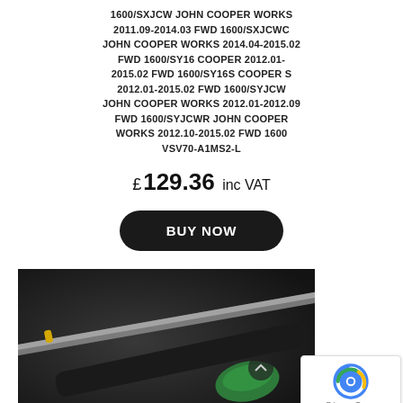1600/SXJCW JOHN COOPER WORKS 2011.09-2014.03 FWD 1600/SXJCWC JOHN COOPER WORKS 2014.04-2015.02 FWD 1600/SY16 COOPER 2012.01-2015.02 FWD 1600/SY16S COOPER S 2012.01-2015.02 FWD 1600/SYJCW JOHN COOPER WORKS 2012.01-2012.09 FWD 1600/SYJCWR JOHN COOPER WORKS 2012.10-2015.02 FWD 1600 VSV70-A1MS2-L
£ 129.36 inc VAT
BUY NOW
[Figure (photo): Close-up photo of automotive tools including what appears to be a screwdriver or probe with a green handle and a metal tool against a dark background]